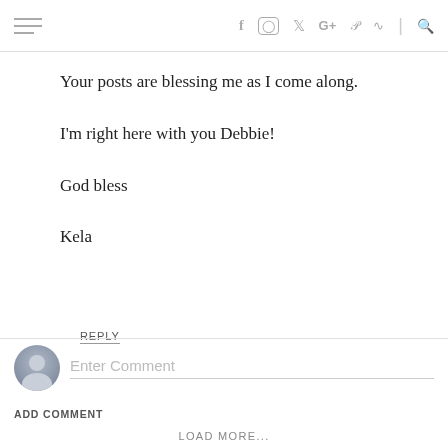☰ f ⬜ 🐦 G+ p ↝ | 🔍
Your posts are blessing me as I come along.

I'm right here with you Debbie!

God bless

Kela
REPLY
[Figure (other): Comment input area with avatar icon and 'Enter Comment' placeholder text]
ADD COMMENT
LOAD MORE...